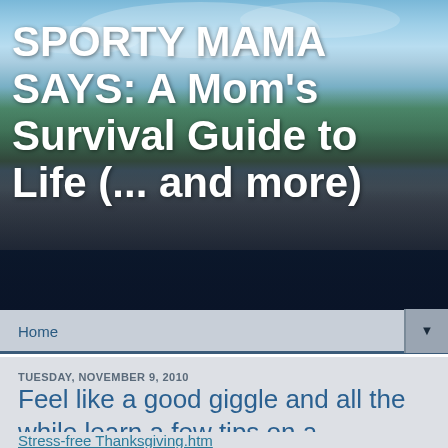SPORTY MAMA SAYS: A Mom's Survival Guide to Life (... and more)
A blog for all of us mothers out there who go through the joy and pain of Little League, club sports, dance recitals, jobs and the rest of life, simply because we love our children.
Home
TUESDAY, NOVEMBER 9, 2010
Feel like a good giggle and all the while learn a few tips on a STRESS-FREE Turkey Day?
Stress-free Thanksgiving.htm